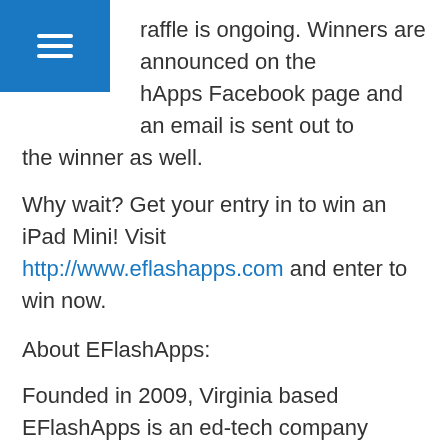raffle is ongoing. Winners are announced on the hApps Facebook page and an email is sent out to the winner as well.
Why wait? Get your entry in to win an iPad Mini! Visit http://www.eflashapps.com and enter to win now.
About EFlashApps:
Founded in 2009, Virginia based EFlashApps is an ed-tech company developing mobile applications, games, music and videos geared towards creating an online curriculum for early childhood education.
EFlashApps Baby Flash Cards apps are now available in 11 languages. Additional apps include series of Sight Words apps for pre-primary to second grade levels and Kids Picture Dictionary. EFlashApps has also launched a music album: Nursery Rhymes – All Time Children's Favorite Songs, available on iTunes. The EFlashApps YouTube Channel features original